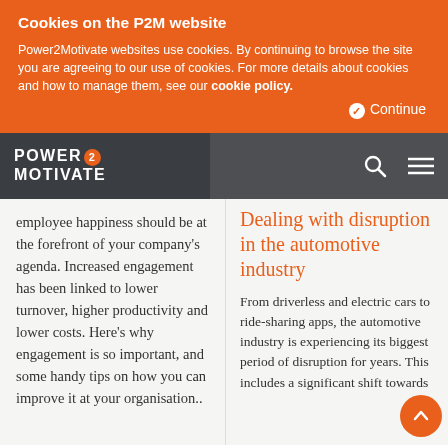Cookies on the P2M website
Power2Motivate websites use cookies. By continuing to browse the site you are agreeing to our use of cookies. For more details about cookies and how to manage them, see our cookie policy.
Continue
[Figure (logo): Power2Motivate logo with orange circle containing '2' and navigation icons (search, hamburger menu)]
employee happiness should be at the forefront of your company's agenda. Increased engagement has been linked to lower turnover, higher productivity and lower costs. Here's why engagement is so important, and some handy tips on how you can improve it at your organisation..
Dealing with disruption in the automotive industry
From driverless and electric cars to ride-sharing apps, the automotive industry is experiencing its biggest period of disruption for years. This includes a significant shift towards